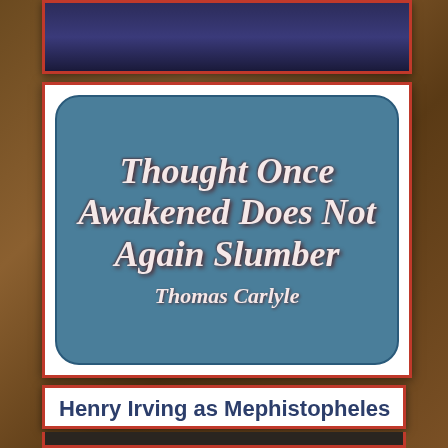[Figure (illustration): Partially visible top card with dark blue/navy background, partially cropped at top of page]
[Figure (illustration): Decorative quote card with teal/steel blue rounded rectangle background. Quote text reads: 'Thought Once Awakened Does Not Again Slumber' attributed to Thomas Carlyle. White/pink italic decorative font with dark red text shadow.]
Henry Irving as Mephistopheles
[Figure (photo): Partially visible dark photograph of Henry Irving as Mephistopheles, cropped at bottom of page]